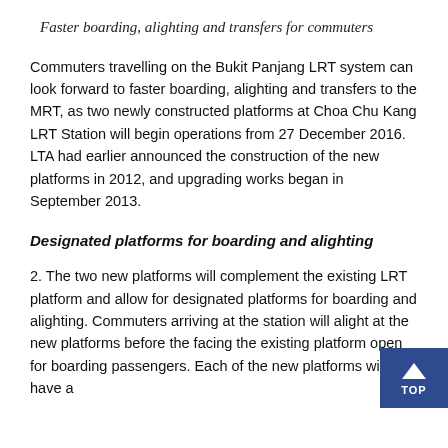Faster boarding, alighting and transfers for commuters
Commuters travelling on the Bukit Panjang LRT system can look forward to faster boarding, alighting and transfers to the MRT, as two newly constructed platforms at Choa Chu Kang LRT Station will begin operations from 27 December 2016. LTA had earlier announced the construction of the new platforms in 2012, and upgrading works began in September 2013.
Designated platforms for boarding and alighting
2. The two new platforms will complement the existing LRT platform and allow for designated platforms for boarding and alighting. Commuters arriving at the station will alight at the new platforms before the facing the existing platform open for boarding passengers. Each of the new platforms will have a